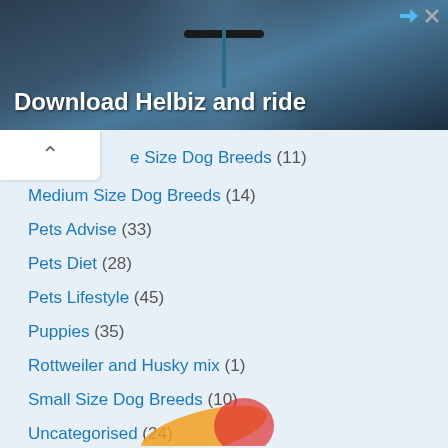[Figure (photo): Advertisement banner showing 'Download Helbiz and ride' with a bicycle handlebar in the background. Close (X) button visible in top right.]
Size Dog Breeds (11)
Medium Size Dog Breeds (14)
Pets Advise (33)
Pets Diet (28)
Pets Lifestyle (45)
Puppies (35)
Rottweiler and Husky mix (1)
Small Size Dog Breeds (10)
Uncategorised (24)
[Figure (logo): Partial logo visible at bottom of page]